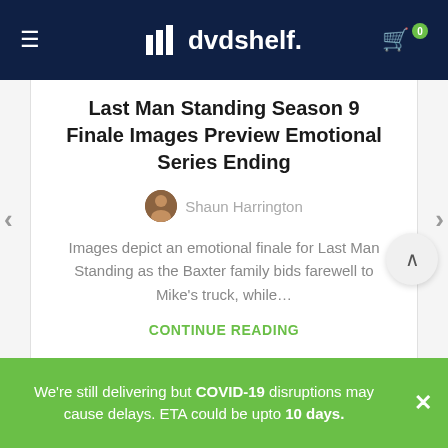dvdshelf.
Last Man Standing Season 9 Finale Images Preview Emotional Series Ending
Shaun Harrington
Images depict an emotional finale for Last Man Standing as the Baxter family bids farewell to Mike's truck, while...
CONTINUE READING
We're still delivering but COVID-19 disruptions may cause delays. ETA could be upto 10 days.